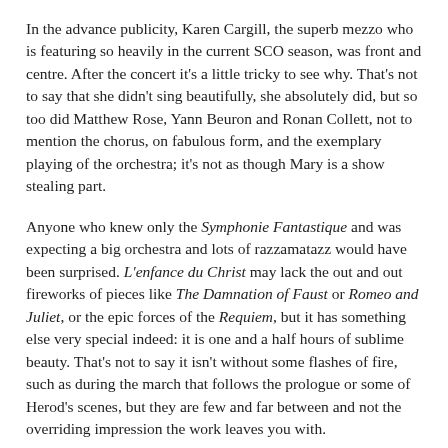In the advance publicity, Karen Cargill, the superb mezzo who is featuring so heavily in the current SCO season, was front and centre. After the concert it's a little tricky to see why. That's not to say that she didn't sing beautifully, she absolutely did, but so too did Matthew Rose, Yann Beuron and Ronan Collett, not to mention the chorus, on fabulous form, and the exemplary playing of the orchestra; it's not as though Mary is a show stealing part.
Anyone who knew only the Symphonie Fantastique and was expecting a big orchestra and lots of razzamatazz would have been surprised. L'enfance du Christ may lack the out and out fireworks of pieces like The Damnation of Faust or Romeo and Juliet, or the epic forces of the Requiem, but it has something else very special indeed: it is one and a half hours of sublime beauty. That's not to say it isn't without some flashes of fire, such as during the march that follows the prologue or some of Herod's scenes, but they are few and far between and not the overriding impression the work leaves you with.
I never think French is the easiest language to sing in, and